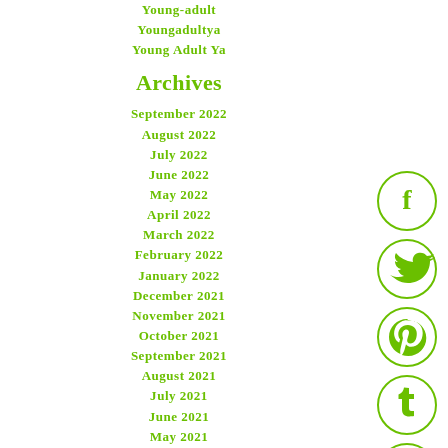Young-adult
Youngadultya
Young Adult Ya
Archives
September 2022
August 2022
July 2022
June 2022
May 2022
April 2022
March 2022
February 2022
January 2022
December 2021
November 2021
October 2021
September 2021
August 2021
July 2021
June 2021
May 2021
[Figure (illustration): Social media icons: Facebook, Twitter, Pinterest, Tumblr, StumbleUpon — circular green outlines with white symbols]